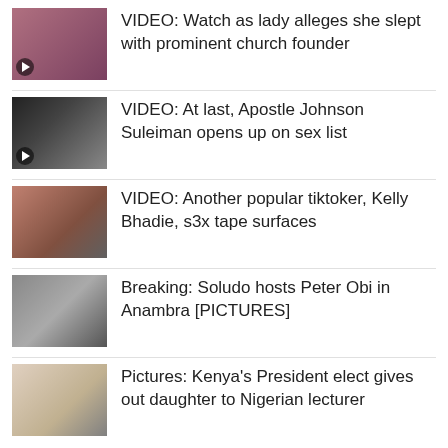VIDEO: Watch as lady alleges she slept with prominent church founder
VIDEO: At last, Apostle Johnson Suleiman opens up on sex list
VIDEO: Another popular tiktoker, Kelly Bhadie, s3x tape surfaces
Breaking: Soludo hosts Peter Obi in Anambra [PICTURES]
Pictures: Kenya's President elect gives out daughter to Nigerian lecturer
COLUMN
Between Atiku and Obasanio's do an dia...